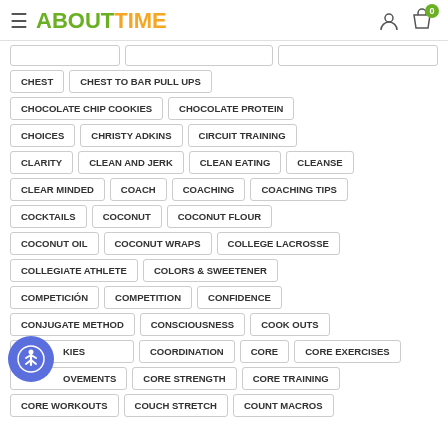ABOUTTIME
CHEST
CHEST TO BAR PULL UPS
CHOCOLATE CHIP COOKIES
CHOCOLATE PROTEIN
CHOICES
CHRISTY ADKINS
CIRCUIT TRAINING
CLARITY
CLEAN AND JERK
CLEAN EATING
CLEANSE
CLEAR MINDED
COACH
COACHING
COACHING TIPS
COCKTAILS
COCONUT
COCONUT FLOUR
COCONUT OIL
COCONUT WRAPS
COLLEGE LACROSSE
COLLEGIATE ATHLETE
COLORS & SWEETENER
COMPETICIÓN
COMPETITION
CONFIDENCE
CONJUGATE METHOD
CONSCIOUSNESS
COOK OUTS
COOKIES
COORDINATION
CORE
CORE EXERCISES
CORE MOVEMENTS
CORE STRENGTH
CORE TRAINING
CORE WORKOUTS
COUCH STRETCH
COUNT MACROS